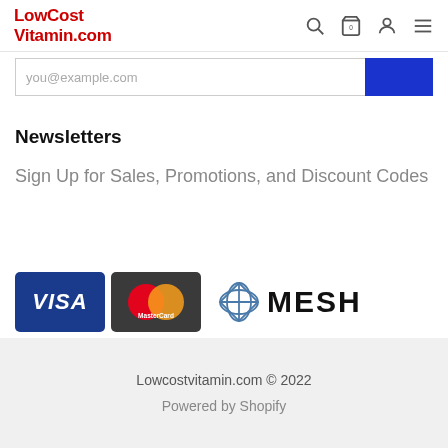LowCost Vitamin.com
you@example.com
Newsletters
Sign Up for Sales, Promotions, and Discount Codes
[Figure (logo): Payment method logos: Visa, MasterCard, and MESH]
Lowcostvitamin.com © 2022
Powered by Shopify